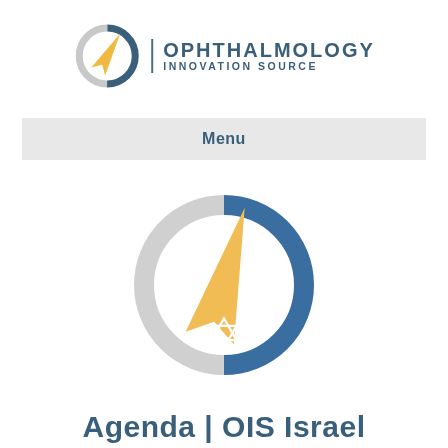[Figure (logo): OIS Ophthalmology Innovation Source logo with compass/circle icon and text]
Menu
[Figure (logo): Large OIS Israel compass icon with Star of David, blue ring and gold arrow]
Agenda | OIS Israel